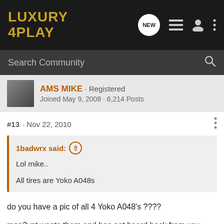[Figure (logo): Luxury 4 Play forum logo in gold/yellow on dark background]
Search Community
AMS MIKE · Registered
Joined May 9, 2008 · 6,214 Posts
#13 · Nov 22, 2010
1badwrx said:
Lol mike..

All tires are Yoko A048s
do you have a pic of all 4 Yoko A048's ????
mon3ypt wants them and has not heard back from you. and you havent posted in this thread since a month ago.
so are these still for sale? please post a pic of all 4 tires